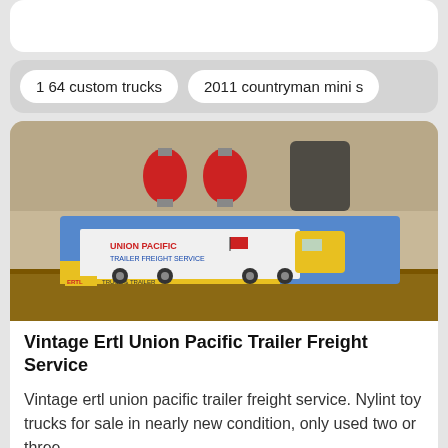[Figure (other): Partial white card/box at top of screen]
1 64 custom trucks   2011 countryman mini s
[Figure (photo): Photo of a vintage Ertl Union Pacific Trailer Freight Service toy truck in its original blue box, placed on a wooden shelf. Red lanterns visible in background.]
Vintage Ertl Union Pacific Trailer Freight Service
Vintage ertl union pacific trailer freight service. Nylint toy trucks for sale in nearly new condition, only used two or three